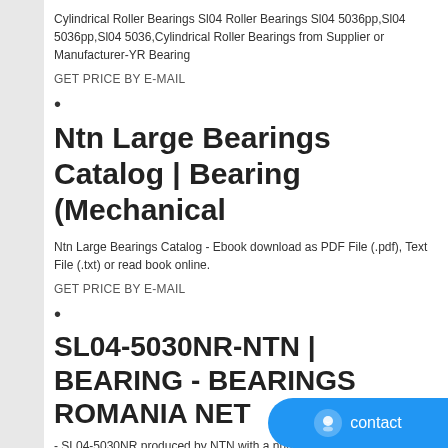Cylindrical Roller Bearings Sl04 Roller Bearings Sl04 5036pp,Sl04 5036pp,Sl04 5036,Cylindrical Roller Bearings from Supplier or Manufacturer-YR Bearing
GET PRICE BY E-MAIL
•
Ntn Large Bearings Catalog | Bearing (Mechanical
Ntn Large Bearings Catalog - Ebook download as PDF File (.pdf), Text File (.txt) or read book online.
GET PRICE BY E-MAIL
•
SL04-5030NR-NTN | BEARING - BEARINGS ROMANIA NET
- SL04-5030NR produced by NTN with a number of items in stock.